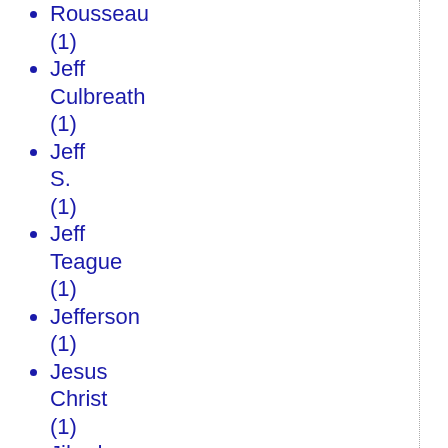Rousseau (1)
Jeff Culbreath (1)
Jeff S. (1)
Jeff Teague (1)
Jefferson (1)
Jesus Christ (1)
Jihad (9)
jihad (16)
jihad sedition law (1)
Joe